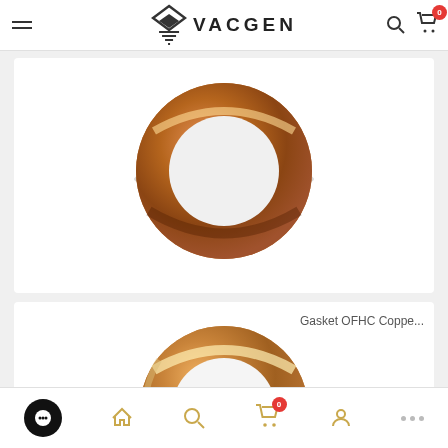VACGEN
[Figure (photo): OFHC copper gasket ring viewed from above on white background - first product card]
[Figure (photo): Gasket OFHC Coppe... - second OFHC copper gasket ring on white background, slightly different finish]
Navigation bar with chat, home, search, cart (0), account, and more icons